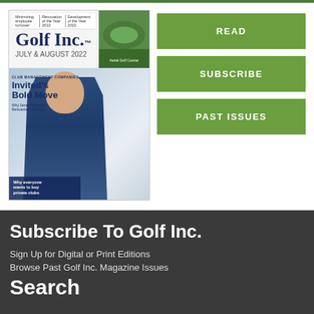[Figure (photo): Golf Inc. magazine cover showing a bald man in a navy blazer with text 'Invited's Bold Move' and 'Why everyone wants to buy private clubs']
READ
SUBSCRIBE
PAST ISSUES
Subscribe To Golf Inc.
Sign Up for Digital or Print Editions
Browse Past Golf Inc. Magazine Issues
Search